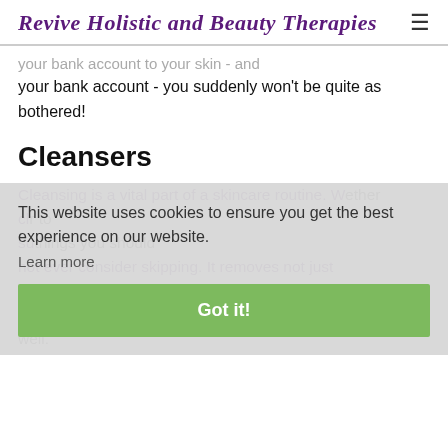Revive Holistic and Beauty Therapies ≡
your bank account - you suddenly won't be quite as bothered!
Cleansers
Cleansing is a vital part of a skincare routine. Whether or to things you should not ever consider skipping. It removes not just keep, but the glow all through the day. It is also really easy to naturalise as well.
This website uses cookies to ensure you get the best experience on our website.
Learn more
Got it!